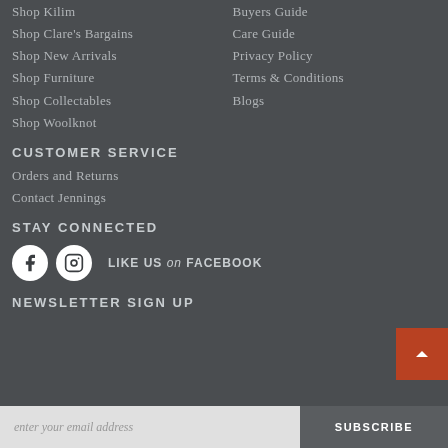Shop Kilim
Shop Clare's Bargains
Shop New Arrivals
Shop Furniture
Shop Collectables
Shop Woolknot
Buyers Guide
Care Guide
Privacy Policy
Terms & Conditions
Blogs
CUSTOMER SERVICE
Orders and Returns
Contact Jennings
STAY CONNECTED
[Figure (illustration): Facebook and Instagram social media icons (white circles with f and camera icons), with text LIKE US on FACEBOOK]
NEWSLETTER SIGN UP
enter your email address
SUBSCRIBE